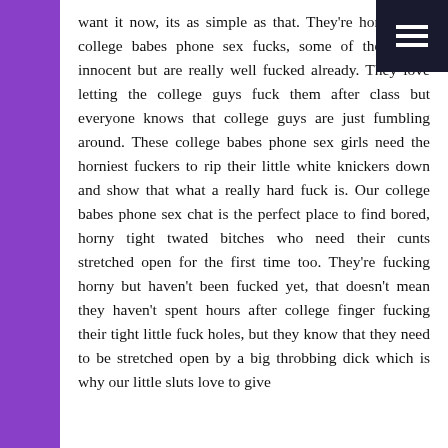want it now, its as simple as that. They're horny little college babes phone sex fucks, some of them look innocent but are really well fucked already. They love letting the college guys fuck them after class but everyone knows that college guys are just fumbling around. These college babes phone sex girls need the horniest fuckers to rip their little white knickers down and show that what a really hard fuck is. Our college babes phone sex chat is the perfect place to find bored, horny tight twated bitches who need their cunts stretched open for the first time too. They're fucking horny but haven't been fucked yet, that doesn't mean they haven't spent hours after college finger fucking their tight little fuck holes, but they know that they need to be stretched open by a big throbbing dick which is why our little sluts love to give